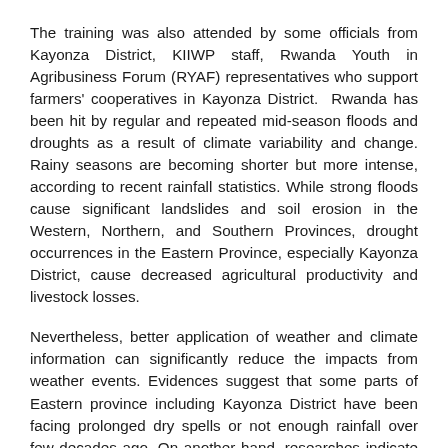The training was also attended by some officials from Kayonza District, KIIWP staff, Rwanda Youth in Agribusiness Forum (RYAF) representatives who support farmers' cooperatives in Kayonza District. Rwanda has been hit by regular and repeated mid-season floods and droughts as a result of climate variability and change. Rainy seasons are becoming shorter but more intense, according to recent rainfall statistics. While strong floods cause significant landslides and soil erosion in the Western, Northern, and Southern Provinces, drought occurrences in the Eastern Province, especially Kayonza District, cause decreased agricultural productivity and livestock losses.
Nevertheless, better application of weather and climate information can significantly reduce the impacts from weather events. Evidences suggest that some parts of Eastern province including Kayonza District have been facing prolonged dry spells or not enough rainfall over few decades ago. On another hand, researches indicate that best agricultural practices which factor weather and climate information can improve the agricultural productivity.
Kamanzi Umutangana Audace, Agronomist of Mwili Sector said that before, they were not well aware of how they can use